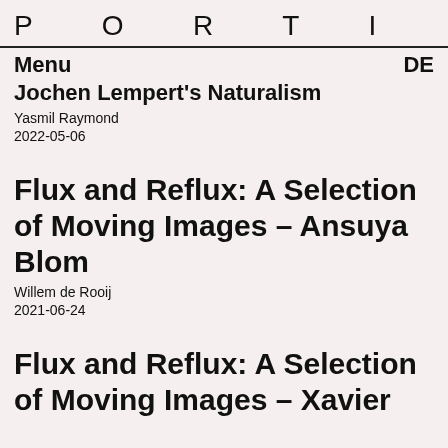P O R T I K U S
Menu   DE
Jochen Lempert's Naturalism
Yasmil Raymond
2022-05-06
Flux and Reflux: A Selection of Moving Images – Ansuya Blom
Willem de Rooij
2021-06-24
Flux and Reflux: A Selection of Moving Images – Xavier